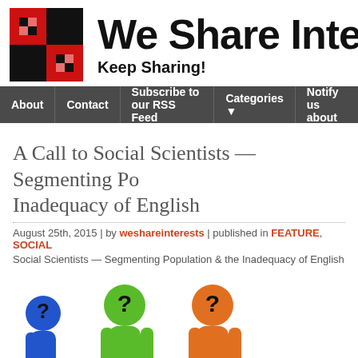[Figure (logo): We Share Interests logo: a checkerboard-style square with red and black squares]
We Share Inte
Keep Sharing!
About | Contact | Subscribe to our RSS Feed | Categories ▼ | Notify us about
A Call to Social Scientists — Segmenting Po Inadequacy of English
August 25th, 2015 | by weshareinterests | published in FEATURE, SOCIAL
Social Scientists — Segmenting Population & the Inadequacy of English
[Figure (illustration): Colorful cartoon figures with question marks for heads — blue, green, orange people with question mark heads and a pink question mark at the bottom center]